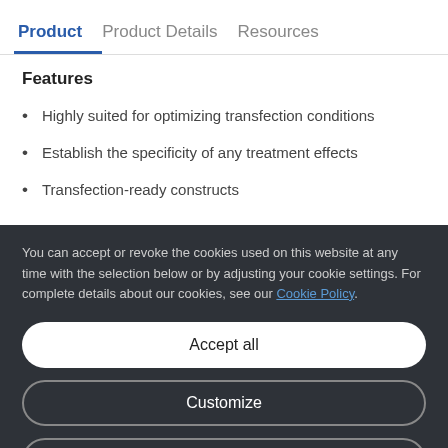Product   Product Details   Resources
Features
Highly suited for optimizing transfection conditions
Establish the specificity of any treatment effects
Transfection-ready constructs
You can accept or revoke the cookies used on this website at any time with the selection below or by adjusting your cookie settings. For complete details about our cookies, see our Cookie Policy.
Accept all
Customize
Only necessary